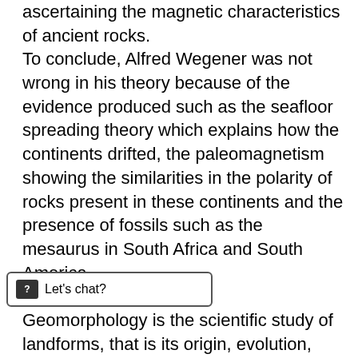ascertaining the magnetic characteristics of ancient rocks. To conclude, Alfred Wegener was not wrong in his theory because of the evidence produced such as the seafloor spreading theory which explains how the continents drifted, the paleomagnetism showing the similarities in the polarity of rocks present in these continents and the presence of fossils such as the mesaurus in South Africa and South America.

Geomorphology is the scientific study of landforms, that is its origin, evolution, form, and distribution cross the physical landscape. The morphology provides significant insight into the formation of the various structures and features in landscape of the world. Landforms are rocks on the surface of the